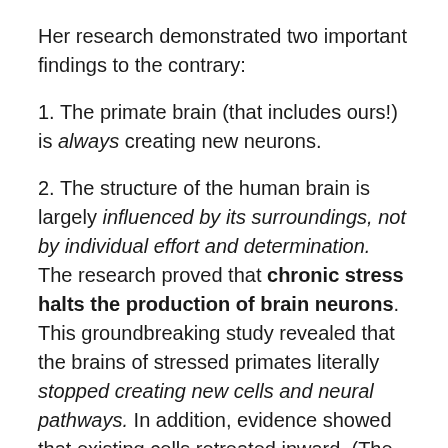Her research demonstrated two important findings to the contrary:
1. The primate brain (that includes ours!) is always creating new neurons.
2. The structure of the human brain is largely influenced by its surroundings, not by individual effort and determination. The research proved that chronic stress halts the production of brain neurons. This groundbreaking study revealed that the brains of stressed primates literally stopped creating new cells and neural pathways. In addition, evidence showed that existing cells retreated inward. (The brains were said to “disfigure.”)